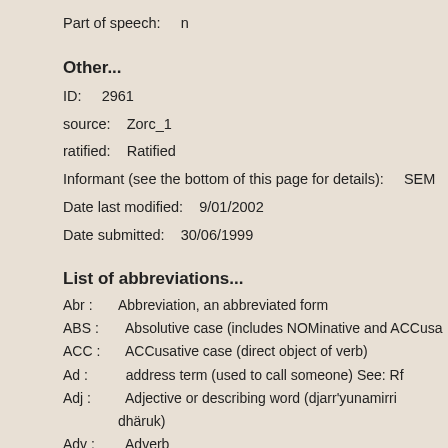Part of speech:    n
Other...
ID:    2961
source:    Zorc_1
ratified:    Ratified
Informant (see the bottom of this page for details):    SEM
Date last modified:    9/01/2002
Date submitted:    30/06/1999
List of abbreviations...
Abr :    Abbreviation, an abbreviated form
ABS :    Absolutive case (includes NOMinative and ACCusa...
ACC :    ACCusative case (direct object of verb)
Ad :    address term (used to call someone) See: Rf
Adj :    Adjective or describing word (djarr'yunamirri dhäruk)
Adv :    Adverb
ALL :    Allative case (direction towards something or someo...